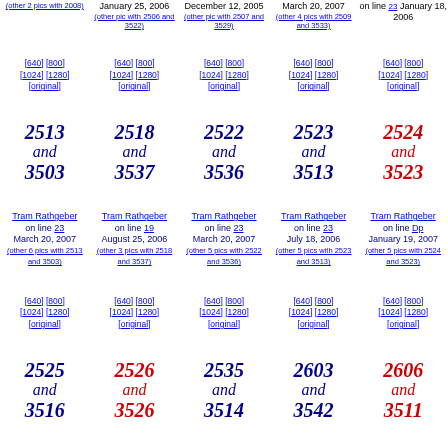Grid of tram photos with numbers and links: 2513/3503, 2518/3537, 2522/3536, 2523/3513, 2524/3523, 2525/3516, 2526/3526, 2535/3514, 2603/3542, 2606/3511